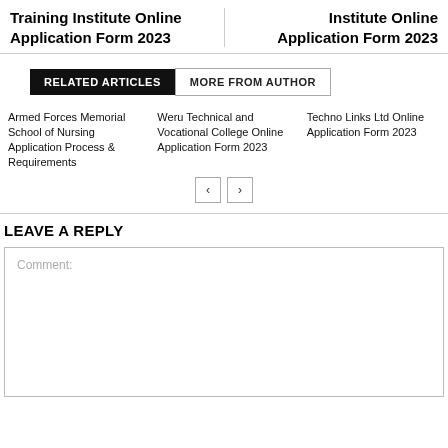Training Institute Online Application Form 2023
Institute Online Application Form 2023
RELATED ARTICLES
MORE FROM AUTHOR
Armed Forces Memorial School of Nursing Application Process & Requirements
Weru Technical and Vocational College Online Application Form 2023
Techno Links Ltd Online Application Form 2023
LEAVE A REPLY
Comment: